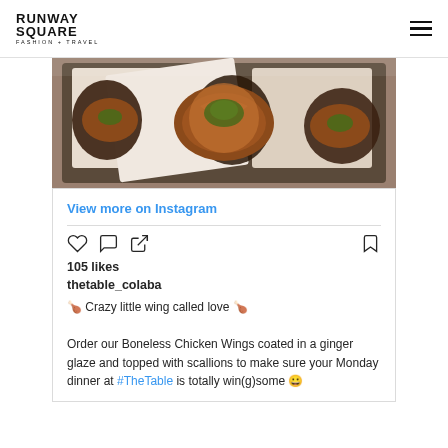RUNWAY SQUARE FASHION + TRAVEL
[Figure (photo): Boneless chicken wings with ginger glaze and scallions on a dark plate]
View more on Instagram
105 likes
thetable_colaba
🍗 Crazy little wing called love 🍗

Order our Boneless Chicken Wings coated in a ginger glaze and topped with scallions to make sure your Monday dinner at #TheTable is totally win(g)some 😀